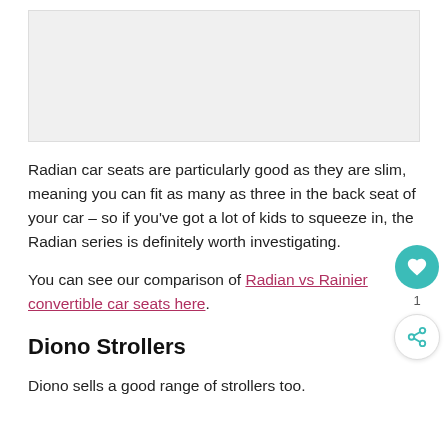[Figure (photo): Image placeholder area, light gray background]
Radian car seats are particularly good as they are slim, meaning you can fit as many as three in the back seat of your car – so if you've got a lot of kids to squeeze in, the Radian series is definitely worth investigating.
You can see our comparison of Radian vs Rainier convertible car seats here.
Diono Strollers
Diono sells a good range of strollers too.